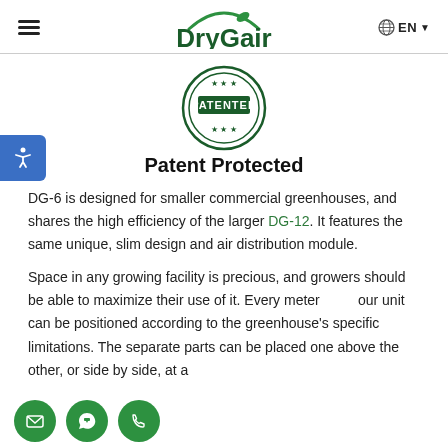DryGair — EN
[Figure (logo): DryGair logo with green arc and leaf above text]
[Figure (illustration): Circular patented stamp/seal in dark green with stars and 'PATENTED' text]
Patent Protected
DG-6 is designed for smaller commercial greenhouses, and shares the high efficiency of the larger DG-12. It features the same unique, slim design and air distribution module.
Space in any growing facility is precious, and growers should be able to maximize their use of it. Every meter counts. Our unit can be positioned according to the greenhouse's specific limitations. The separate parts can be placed one above the other, or side by side, at a